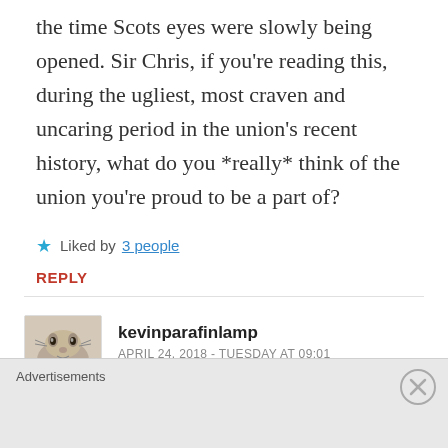the time Scots eyes were slowly being opened. Sir Chris, if you're reading this, during the ugliest, most craven and uncaring period in the union's recent history, what do you *really* think of the union you're proud to be a part of?
★ Liked by 3 people
REPLY
kevinparafinlamp
APRIL 24, 2018 - TUESDAY AT 09:01
*great discussing. Belle was...
Advertisements